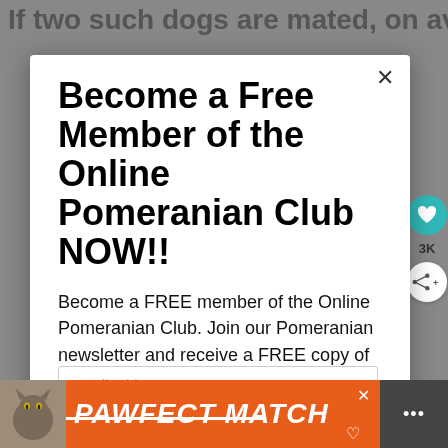If two such dogs are mated, on average one-
Become a Free Member of the Online Pomeranian Club NOW!!
Become a FREE member of the Online Pomeranian Club. Join our Pomeranian newsletter and receive a FREE copy of Pomeranian Puppy Care eBook and FREE access to The Pomeranian Resource Library.
Email address
[Figure (infographic): PAWFECT MATCH advertisement banner with cat image on orange background]
[Figure (infographic): Right panel gray strip with share/dots icon]